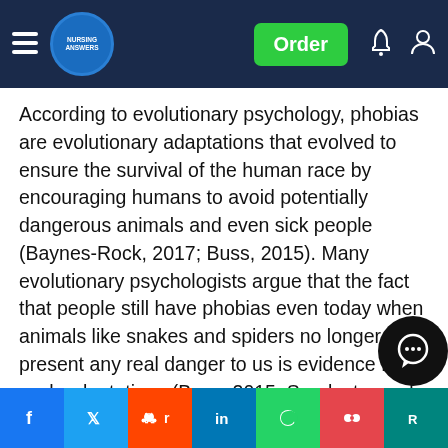nursing answers — Order
According to evolutionary psychology, phobias are evolutionary adaptations that evolved to ensure the survival of the human race by encouraging humans to avoid potentially dangerous animals and even sick people (Baynes-Rock, 2017; Buss, 2015). Many evolutionary psychologists argue that the fact that people still have phobias even today when animals like snakes and spiders no longer present any real danger to us is evidence for such adaptations (Buss, 2015; Sandseter and Kennair, 2011). However, most of these arguments are not founded on empirical evidence, but are more anecdotal in nature, meaning that the validity and reliability of such arguments are questionable, though interesting nonetheless. Yet recent experimental evidence by New and German (2... demonstrated that humans have an attentional bias to images of [...]e [...] [...] to conclude that [...] that [...] the [...]